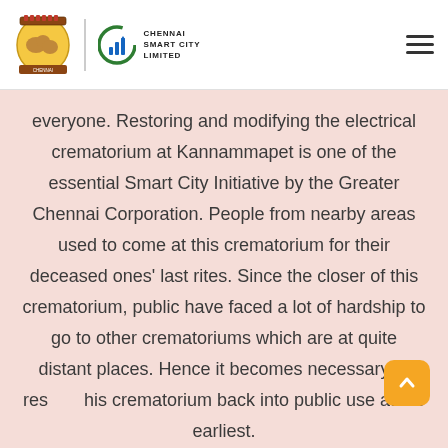[Figure (logo): Greater Chennai Corporation emblem and Chennai Smart City Limited logo side by side in the page header]
everyone. Restoring and modifying the electrical crematorium at Kannammapet is one of the essential Smart City Initiative by the Greater Chennai Corporation. People from nearby areas used to come at this crematorium for their deceased ones' last rites. Since the closer of this crematorium, public have faced a lot of hardship to go to other crematoriums which are at quite distant places. Hence it becomes necessary to restore this crematorium back into public use at the earliest.